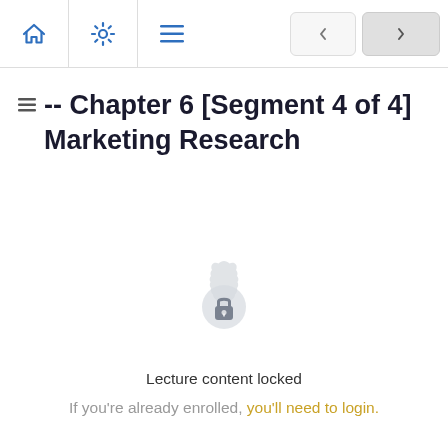Navigation bar with home, settings, menu icons and previous/next buttons
-- Chapter 6 [Segment 4 of 4] Marketing Research
[Figure (illustration): Locked content badge icon — a grey gear/rosette badge with a padlock in the center]
Lecture content locked
If you're already enrolled, you'll need to login.